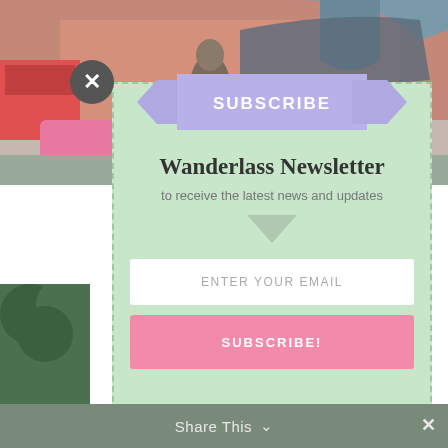[Figure (photo): Street scene background photo with tuk-tuk, buildings, pink car, and trees visible behind a subscribe newsletter modal popup]
SUBSCRIBE
Wanderlass Newsletter
to receive the latest news and updates
ENTER YOUR EMAIL
SUBSCRIBE!
Share This ∨